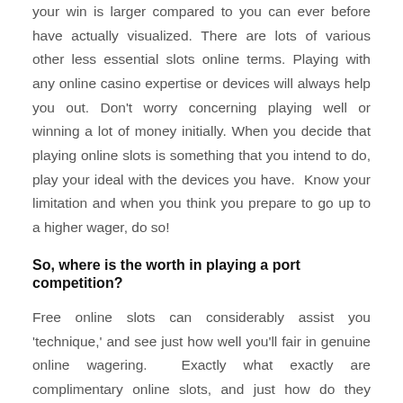your win is larger compared to you can ever before have actually visualized. There are lots of various other less essential slots online terms. Playing with any online casino expertise or devices will always help you out. Don't worry concerning playing well or winning a lot of money initially. When you decide that playing online slots is something that you intend to do, play your ideal with the devices you have.  Know your limitation and when you think you prepare to go up to a higher wager, do so!
So, where is the worth in playing a port competition?
Free online slots can considerably assist you 'technique,' and see just how well you'll fair in genuine online wagering.  Exactly what exactly are complimentary online slots, and just how do they work? Read on to satisfy your inquisitiveness. In some